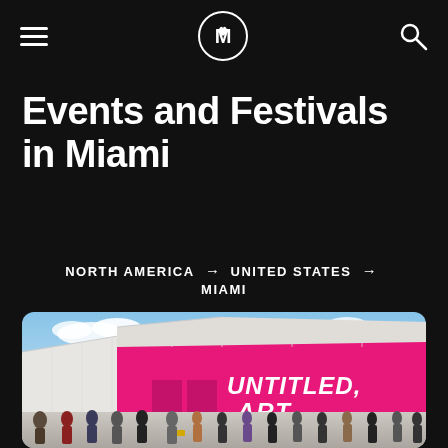≡  [M logo]  🔍
Events and Festivals in Miami
NORTH AMERICA → UNITED STATES → MIAMI
[Figure (photo): Outdoor art fair entrance with large magenta/pink tent structure reading 'UNTITLED, ART' with crowds of people in front, blue sky above]